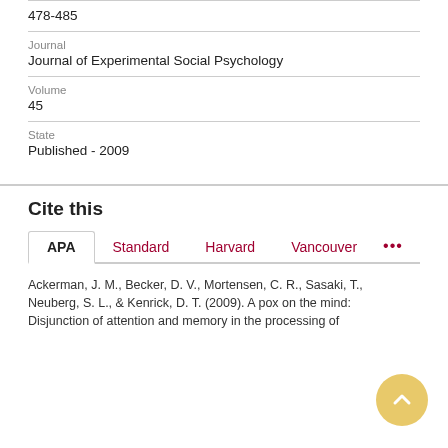478-485
Journal
Journal of Experimental Social Psychology
Volume
45
State
Published - 2009
Cite this
APA | Standard | Harvard | Vancouver | ...
Ackerman, J. M., Becker, D. V., Mortensen, C. R., Sasaki, T., Neuberg, S. L., & Kenrick, D. T. (2009). A pox on the mind: Disjunction of attention and memory in the processing of